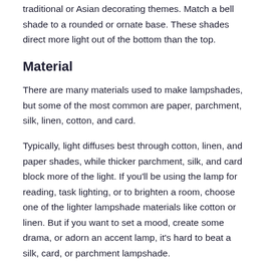traditional or Asian decorating themes. Match a bell shade to a rounded or ornate base. These shades direct more light out of the bottom than the top.
Material
There are many materials used to make lampshades, but some of the most common are paper, parchment, silk, linen, cotton, and card.
Typically, light diffuses best through cotton, linen, and paper shades, while thicker parchment, silk, and card block more of the light. If you'll be using the lamp for reading, task lighting, or to brighten a room, choose one of the lighter lampshade materials like cotton or linen. But if you want to set a mood, create some drama, or adorn an accent lamp, it's hard to beat a silk, card, or parchment lampshade.